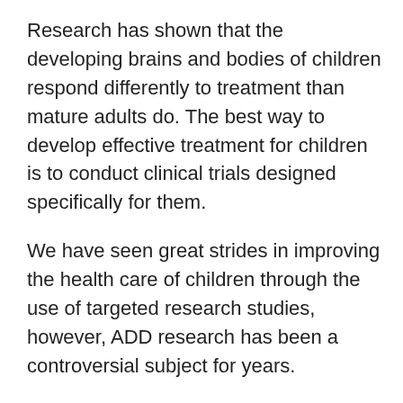Research has shown that the developing brains and bodies of children respond differently to treatment than mature adults do. The best way to develop effective treatment for children is to conduct clinical trials designed specifically for them.
We have seen great strides in improving the health care of children through the use of targeted research studies, however, ADD research has been a controversial subject for years.
Vaccines, cancer treatments and premature baby interventions have come a long way over the past few years thanks to targeted research. Although there have been many medical breakthroughs in children's research and treatments, there is still a long way to go